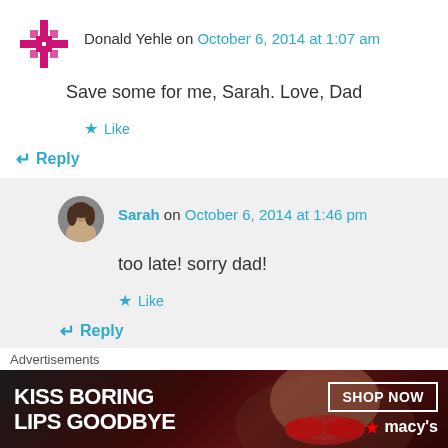Donald Yehle on October 6, 2014 at 1:07 am
Save some for me, Sarah. Love, Dad
Like
Reply
Sarah on October 6, 2014 at 1:46 pm
too late! sorry dad!
Like
Reply
Advertisements
[Figure (infographic): Macy's advertisement banner: KISS BORING LIPS GOODBYE with SHOP NOW button and Macy's logo, featuring a woman's face with red lips]